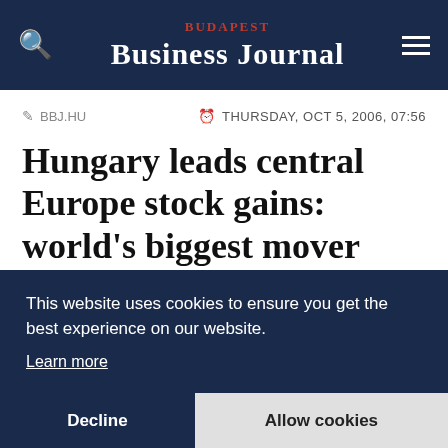BUDAPEST BUSINESS JOURNAL
BBJ.HU · THURSDAY, OCT 5, 2006, 07:56
Hungary leads central Europe stock gains: world's biggest mover
This website uses cookies to ensure you get the best experience on our website.
Learn more
Decline · Allow cookies